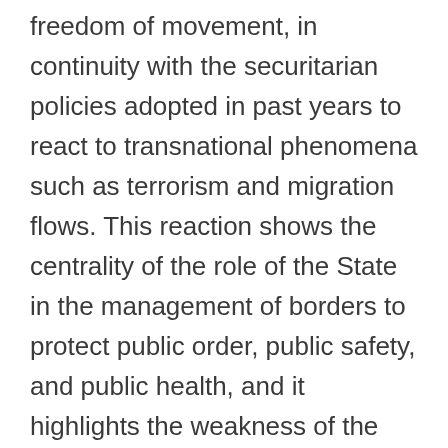freedom of movement, in continuity with the securitarian policies adopted in past years to react to transnational phenomena such as terrorism and migration flows. This reaction shows the centrality of the role of the State in the management of borders to protect public order, public safety, and public health, and it highlights the weakness of the European legal space, which, on the other hand, is mainly aimed at guaranteeing freedom of movement and the functioning of the single market. After some theoretical considerations on the evolution of the concept of border in the light of the current pandemic, the article focuses on the European